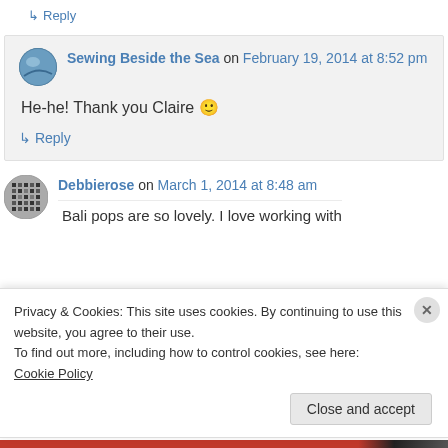↳ Reply
Sewing Beside the Sea on February 19, 2014 at 8:52 pm
He-he! Thank you Claire 🙂
↳ Reply
Debbierose on March 1, 2014 at 8:48 am
Bali pops are so lovely. I love working with
Privacy & Cookies: This site uses cookies. By continuing to use this website, you agree to their use.
To find out more, including how to control cookies, see here: Cookie Policy
Close and accept